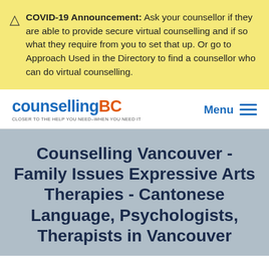COVID-19 Announcement: Ask your counsellor if they are able to provide secure virtual counselling and if so what they require from you to set that up. Or go to Approach Used in the Directory to find a counsellor who can do virtual counselling.
[Figure (logo): CounsellingBC logo with tagline 'CLOSER TO THE HELP YOU NEED-WHEN YOU NEED IT' and a Menu button with hamburger icon]
Counselling Vancouver - Family Issues Expressive Arts Therapies - Cantonese Language, Psychologists, Therapists in Vancouver